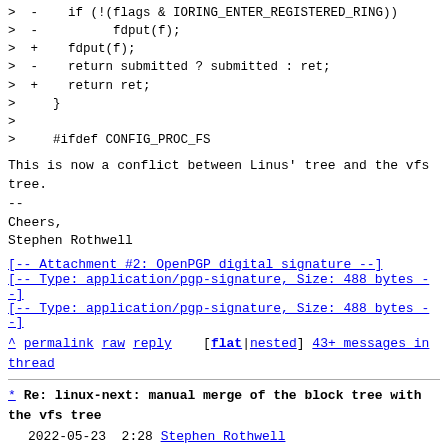>  -    if (!(flags & IORING_ENTER_REGISTERED_RING))
>  -          fdput(f);
>  +    fdput(f);
>  -    return submitted ? submitted : ret;
>  +    return ret;
>     }
>  
>     #ifdef CONFIG_PROC_FS
This is now a conflict between Linus' tree and the vfs tree.
--
Cheers,
Stephen Rothwell
[-- Attachment #2: OpenPGP digital signature --]
[-- Type: application/pgp-signature, Size: 488 bytes --]
^ permalink raw reply [flat|nested] 43+ messages in thread
* Re: linux-next: manual merge of the block tree with the vfs tree
2022-05-23  2:28 Stephen Rothwell
@ 2022-05-23  2:58 ` Jens Axboe
  2022-05-23 22:54 ` Stephen Rothwell
  1 sibling, 0 replies; 43+ messages in thread